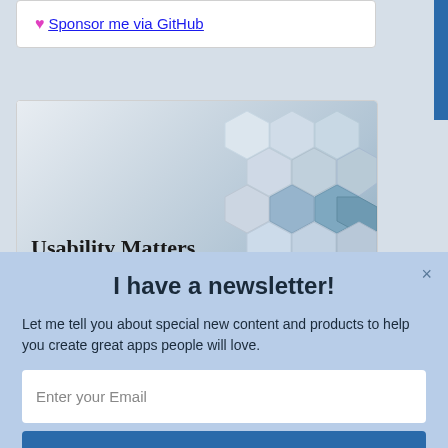♥ Sponsor me via GitHub
[Figure (screenshot): Usability Matters card with hexagonal geometric background and 'POWERED BY SUMO' badge]
I have a newsletter!
Let me tell you about special new content and products to help you create great apps people will love.
Enter your Email
count me in!